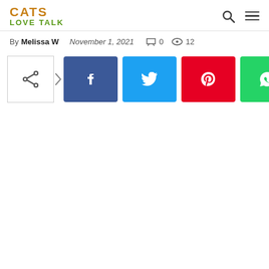CATS LOVE TALK
By Melissa W   November 1, 2021   0   12
[Figure (other): Social share bar with share icon, arrow, Facebook, Twitter, Pinterest, and WhatsApp buttons]